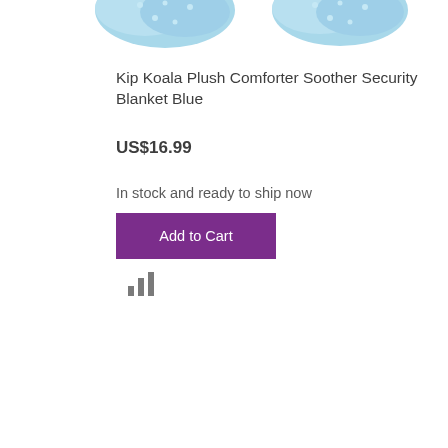[Figure (photo): Blue plush koala comforter/soother product images cropped at top of page]
Kip Koala Plush Comforter Soother Security Blanket Blue
US$16.99
In stock and ready to ship now
Add to Cart
[Figure (other): Small bar chart icon]